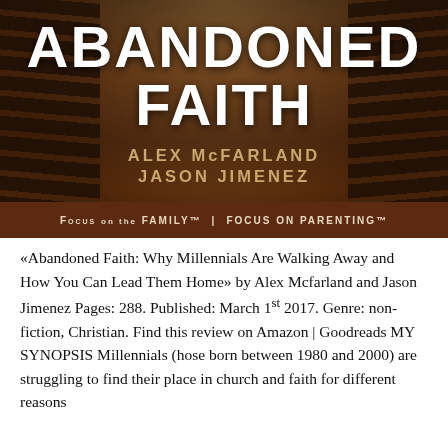[Figure (illustration): Book cover of 'Abandoned Faith' by Alex McFarland and Jason Jimenez. Dark brown background with church pews visible on either side, large white bold title 'ABANDONED FAITH', gold author names below, and Focus on the Family / Focus on Parenting logos at the bottom.]
«Abandoned Faith: Why Millennials Are Walking Away and How You Can Lead Them Home» by Alex Mcfarland and Jason Jimenez Pages: 288. Published: March 1st 2017. Genre: non-fiction, Christian. Find this review on Amazon | Goodreads MY SYNOPSIS Millennials (hose born between 1980 and 2000) are struggling to find their place in church and faith for different reasons